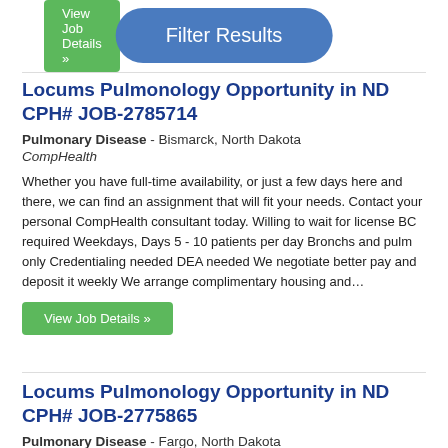View Job Details »
Filter Results
Locums Pulmonology Opportunity in ND CPH# JOB-2785714
Pulmonary Disease - Bismarck, North Dakota
CompHealth
Whether you have full-time availability, or just a few days here and there, we can find an assignment that will fit your needs. Contact your personal CompHealth consultant today. Willing to wait for license BC required Weekdays, Days 5 - 10 patients per day Bronchs and pulm only Credentialing needed DEA needed We negotiate better pay and deposit it weekly We arrange complimentary housing and…
View Job Details »
Locums Pulmonology Opportunity in ND CPH# JOB-2775865
Pulmonary Disease - Fargo, North Dakota
CompHealth
Whether you are looking for a new opportunity or a way to supplement your income, CompHealth can help you find an assignment to meet